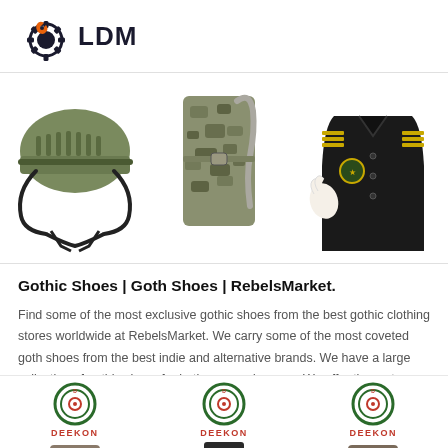[Figure (logo): LDM logo with gear icon and orange wrench]
[Figure (photo): Three product images: military helmet, camouflage hydration pack/bag, dark military uniform with badges]
Gothic Shoes | Goth Shoes | RebelsMarket.
Find some of the most exclusive gothic shoes from the best gothic clothing stores worldwide at RebelsMarket. We carry some of the most coveted goth shoes from the best indie and alternative brands. We have a large collection of gothic shoes for both men and women.We offer them at cheap prices so anyone can afford a good high-quality pair of shoes, even if you're on a low budget.
[Figure (photo): Three brand sections each showing DEEKON logo (circular badge design) with product images partially visible at the bottom]